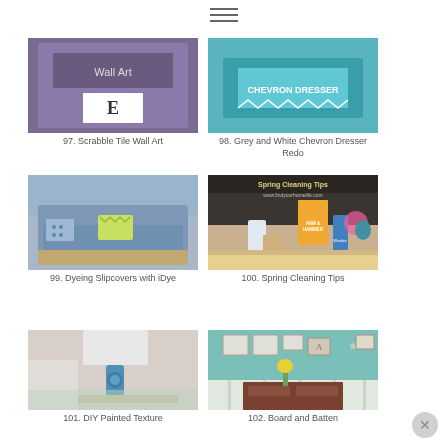[Figure (screenshot): Hamburger menu icon at top center]
[Figure (photo): 97. Scrabble Tile Wall Art - purple/dark colored image with letter E tile and Wall Art text]
97. Scrabble Tile Wall Art
[Figure (photo): 98. Grey and White Chevron Dresser Redo - teal/aqua dresser image]
98. Grey and White Chevron Dresser Redo
[Figure (photo): 99. Dyeing Slipcovers with iDye - blue sofa/chair with chevron pillow]
99. Dyeing Slipcovers with iDye
[Figure (photo): 100. Spring Cleaning Tips - cleaning supplies on table with Arm & Hammer, Windex]
100. Spring Cleaning Tips
[Figure (photo): 101. DIY Painted Texture Lamp - blue lamp on side table (partially visible)]
101. DIY Painted Texture
[Figure (photo): 102. Board and Batten - teal wall with framed art, star, dresser with yellow flowers (partially visible)]
102. Board and Batten